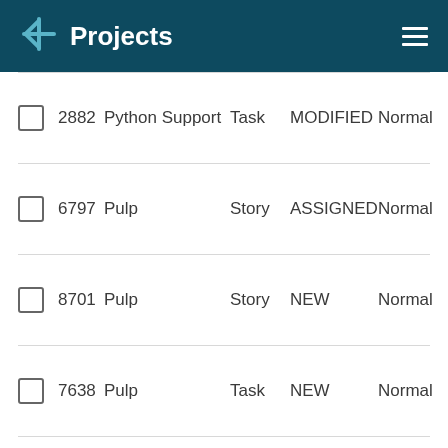Projects
|  | ID | Name | Type | Status | Priority |
| --- | --- | --- | --- | --- | --- |
|  | 2882 | Python Support | Task | MODIFIED | Normal |
|  | 6797 | Pulp | Story | ASSIGNED | Normal |
|  | 8701 | Pulp | Story | NEW | Normal |
|  | 7638 | Pulp | Task | NEW | Normal |